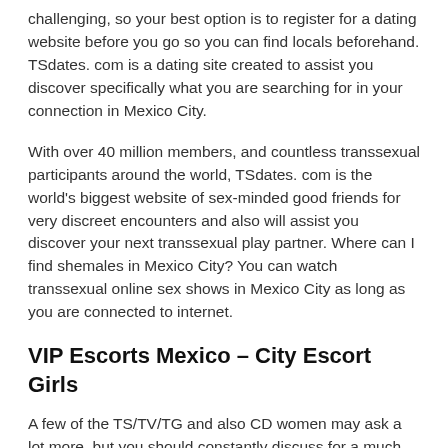challenging, so your best option is to register for a dating website before you go so you can find locals beforehand. TSdates. com is a dating site created to assist you discover specifically what you are searching for in your connection in Mexico City.
With over 40 million members, and countless transsexual participants around the world, TSdates. com is the world's biggest website of sex-minded good friends for very discreet encounters and also will assist you discover your next transsexual play partner. Where can I find shemales in Mexico City? You can watch transsexual online sex shows in Mexico City as long as you are connected to internet.
VIP Escorts Mexico – City Escort Girls
A few of the TS/TV/TG and also CD women may ask a lot more, but you should constantly discuss for a much